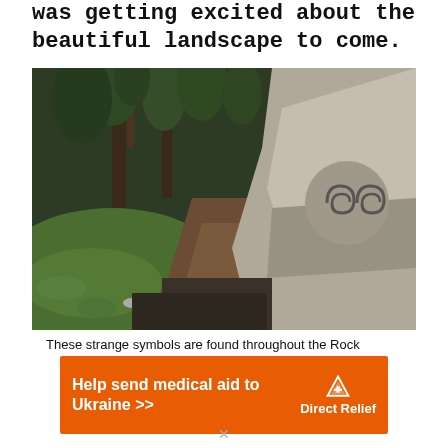was getting excited about the beautiful landscape to come.
[Figure (photo): Forest trail with large rocks, green moss and trees. On a right-side boulder there is a carved double spiral symbol.]
These strange symbols are found throughout the Rock
[Figure (infographic): Orange advertisement banner: 'Help send medical aid to Ukraine >>' with Direct Relief logo on the right.]